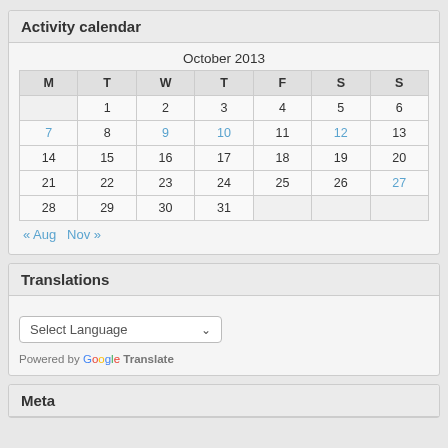Activity calendar
| M | T | W | T | F | S | S |
| --- | --- | --- | --- | --- | --- | --- |
|  | 1 | 2 | 3 | 4 | 5 | 6 |
| 7 | 8 | 9 | 10 | 11 | 12 | 13 |
| 14 | 15 | 16 | 17 | 18 | 19 | 20 |
| 21 | 22 | 23 | 24 | 25 | 26 | 27 |
| 28 | 29 | 30 | 31 |  |  |  |
« Aug   Nov »
Translations
Select Language
Powered by Google Translate
Meta